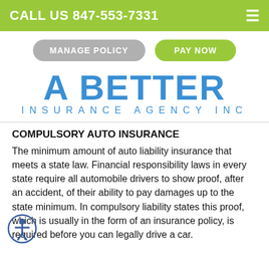CALL US 847-553-7331
MANAGE POLICY  PAY NOW
[Figure (logo): A Better Insurance Agency Inc logo in blue text]
COMPULSORY AUTO INSURANCE
The minimum amount of auto liability insurance that meets a state law. Financial responsibility laws in every state require all automobile drivers to show proof, after an accident, of their ability to pay damages up to the state minimum. In compulsory liability states this proof, which is usually in the form of an insurance policy, is required before you can legally drive a car.